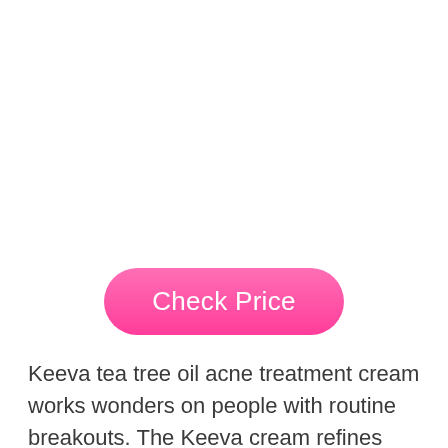[Figure (other): Pink rounded rectangle button with white text reading 'Check Price']
Keeva tea tree oil acne treatment cream works wonders on people with routine breakouts. The Keeva cream refines pores, brightens skin tones, and